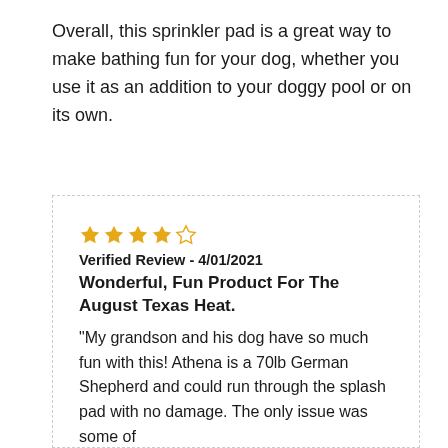Overall, this sprinkler pad is a great way to make bathing fun for your dog, whether you use it as an addition to your doggy pool or on its own.
★★★★☆ Verified Review - 4/01/2021 Wonderful, Fun Product For The August Texas Heat. "My grandson and his dog have so much fun with this! Athena is a 70lb German Shepherd and could run through the splash pad with no damage. The only issue was some of